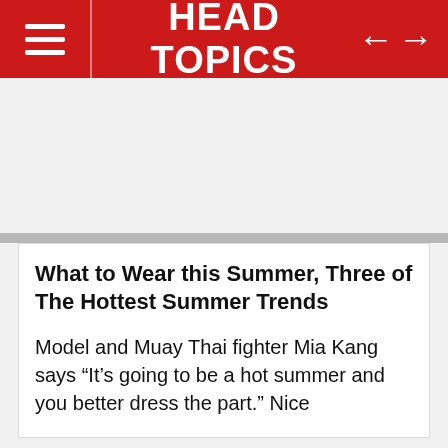HEAD TOPICS
What to Wear this Summer, Three of The Hottest Summer Trends
Model and Muay Thai fighter Mia Kang says “It’s going to be a hot summer and you better dress the part.” Nice
GRCh38
T2T-CHM13